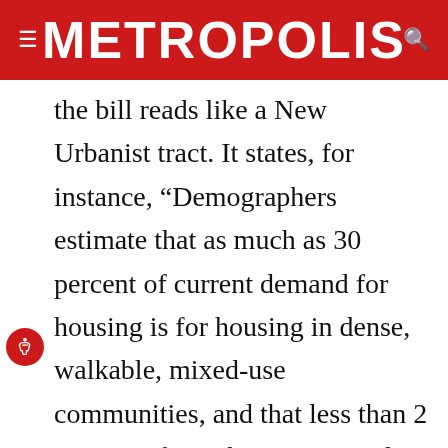METROPOLIS
the bill reads like a New Urbanist tract. It states, for instance, “Demographers estimate that as much as 30 percent of current demand for housing is for housing in dense, walkable, mixed-use communities, and that less than 2 percent of new housing is in this category.” It argues that less driving is “a necessary part of the energy independence and climate change strategies of the United States.” The bill contains remarkably enlightened rhetoric, but it doesn’t quite walk the walk. Like much of